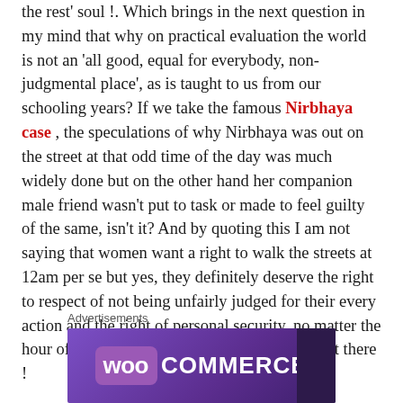the rest' soul !. Which brings in the next question in my mind that why on practical evaluation the world is not an 'all good, equal for everybody, non-judgmental place', as is taught to us from our schooling years? If we take the famous Nirbhaya case , the speculations of why Nirbhaya was out on the street at that odd time of the day was much widely done but on the other hand her companion male friend wasn't put to task or made to feel guilty of the same, isn't it? And by quoting this I am not saying that women want a right to walk the streets at 12am per se but yes, they definitely deserve the right to respect of not being unfairly judged for their every action and the right of personal security, no matter the hour of the day they choose to or need to be out there !
Advertisements
[Figure (logo): WooCommerce advertisement banner with purple gradient background and WooCommerce logo in white text]